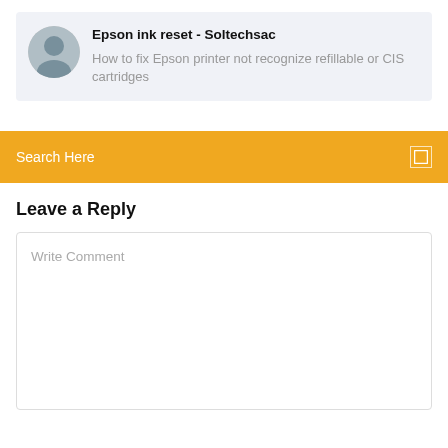Epson ink reset - Soltechsac
How to fix Epson printer not recognize refillable or CIS cartridges
Search Here
Leave a Reply
Write Comment